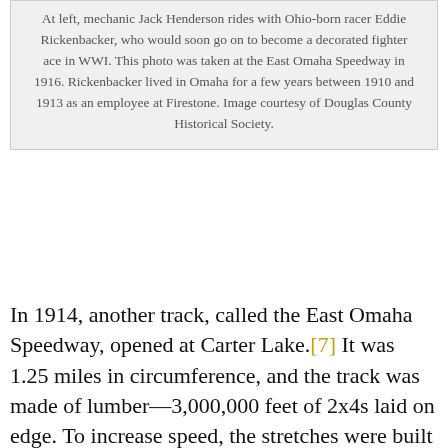At left, mechanic Jack Henderson rides with Ohio-born racer Eddie Rickenbacker, who would soon go on to become a decorated fighter ace in WWI. This photo was taken at the East Omaha Speedway in 1916. Rickenbacker lived in Omaha for a few years between 1910 and 1913 as an employee at Firestone. Image courtesy of Douglas County Historical Society.
In 1914, another track, called the East Omaha Speedway, opened at Carter Lake.[7] It was 1.25 miles in circumference, and the track was made of lumber—3,000,000 feet of 2x4s laid on edge. To increase speed, the stretches were built at a pitch of 10 degrees, with the curves at a daring 42-degree pitch (about ten degrees steeper than the Daytona International Speedway). There